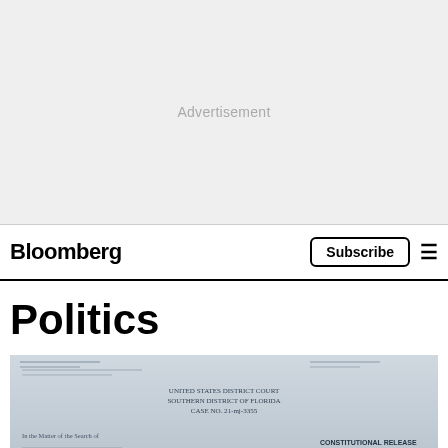[Figure (other): Advertisement banner placeholder — light gray rectangle with 'Advertisement' text centered]
Bloomberg   Subscribe ☰
Politics
[Figure (photo): Photograph of a legal/court document — visible text includes 'UNITED STATES DISTRICT COURT SOUTHERN DISTRICT OF FLORIDA CASE NO.' and 'In the Matter of the Search of' and partial text 'CONSTITUTIONAL RELEASE']